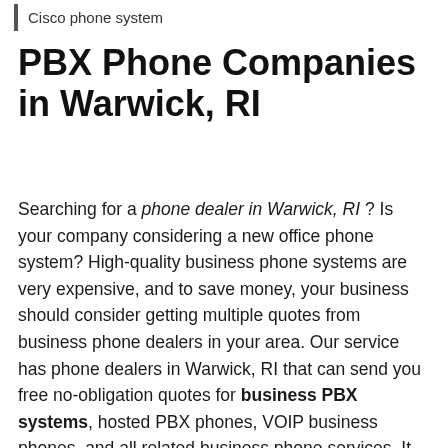Cisco phone system
PBX Phone Companies in Warwick, RI
Searching for a phone dealer in Warwick, RI ? Is your company considering a new office phone system? High-quality business phone systems are very expensive, and to save money, your business should consider getting multiple quotes from business phone dealers in your area. Our service has phone dealers in Warwick, RI that can send you free no-obligation quotes for business PBX systems, hosted PBX phones, VOIP business phones, and all related business phone services. It just takes a minute, and you could save up to 40% on your business phone line by getting a quote from our office phone providers. Phone dealers in Warwick, RI are standing by to send you free business telephone prices today!